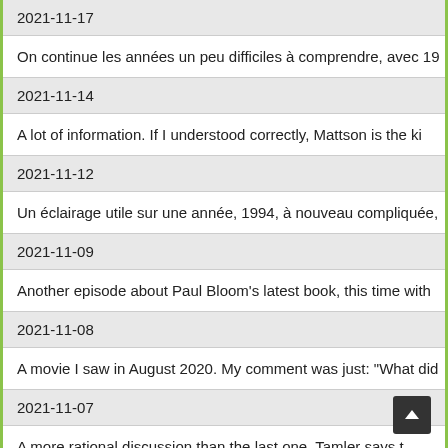2021-11-17
On continue les années un peu difficiles à comprendre, avec 19…
2021-11-14
A lot of information. If I understood correctly, Mattson is the ki…
2021-11-12
Un éclairage utile sur une année, 1994, à nouveau compliquée,…
2021-11-09
Another episode about Paul Bloom's latest book, this time with…
2021-11-08
A movie I saw in August 2020. My comment was just: "What did…
2021-11-07
A more rational discussion than the last one. Tamler says t…